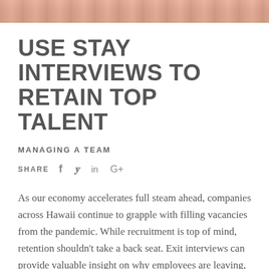[Figure (photo): Partial photo strip at top of page showing people, cropped]
USE STAY INTERVIEWS TO RETAIN TOP TALENT
MANAGING A TEAM
SHARE  f  y  in  G+
As our economy accelerates full steam ahead, companies across Hawaii continue to grapple with filling vacancies from the pandemic. While recruitment is top of mind, retention shouldn't take a back seat. Exit interviews can provide valuable insight on why employees are leaving, but employers can go a step further to improve retention by